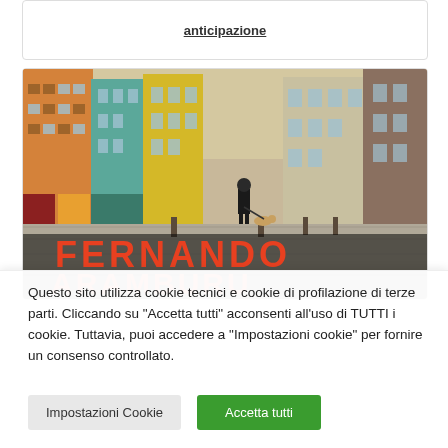anticipazione
[Figure (photo): Book cover photo showing a colorful European street with a person walking a dog. Large orange text reads FERNANDO ARAMBURU at the bottom of the cover image.]
Questo sito utilizza cookie tecnici e cookie di profilazione di terze parti. Cliccando su "Accetta tutti" acconsenti all'uso di TUTTI i cookie. Tuttavia, puoi accedere a "Impostazioni cookie" per fornire un consenso controllato.
Impostazioni Cookie
Accetta tutti